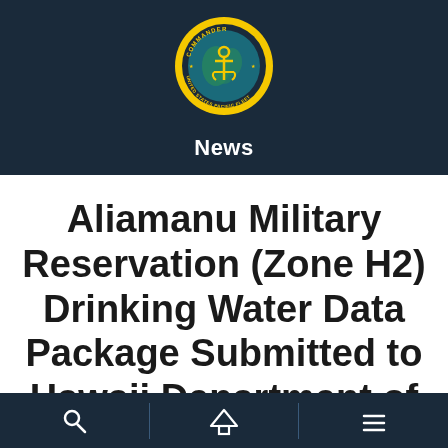[Figure (logo): Commander United States Pacific Fleet circular seal/emblem with anchor and globe, yellow border, on dark navy background]
News
Aliamanu Military Reservation (Zone H2) Drinking Water Data Package Submitted to Hawaii Department of
Navigation icons: search, home, menu